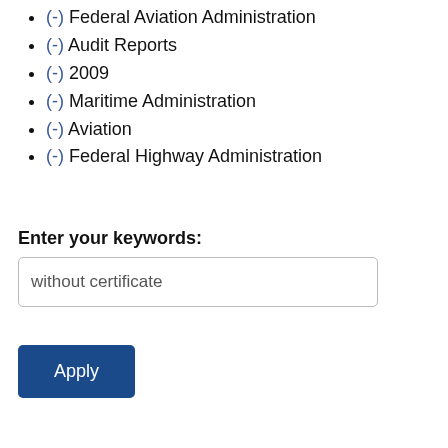(-) Federal Aviation Administration
(-) Audit Reports
(-) 2009
(-) Maritime Administration
(-) Aviation
(-) Federal Highway Administration
Enter your keywords:
without certificate
Apply